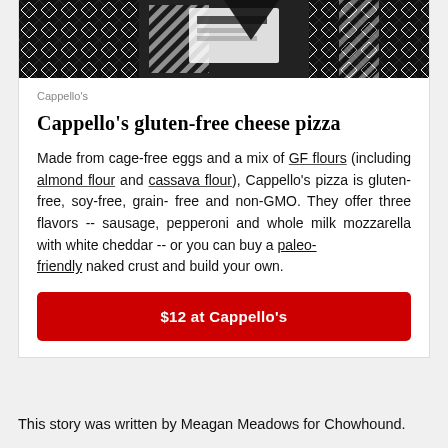[Figure (photo): Black and white geometric/diamond pattern product packaging image at top of card]
Cappello's
Cappello's gluten-free cheese pizza
Made from cage-free eggs and a mix of GF flours (including almond flour and cassava flour), Cappello's pizza is gluten-free, soy-free, grain-free and non-GMO. They offer three flavors -- sausage, pepperoni and whole milk mozzarella with white cheddar -- or you can buy a paleo-friendly naked crust and build your own.
$12 at Cappello's
This story was written by Meagan Meadows for Chowhound.